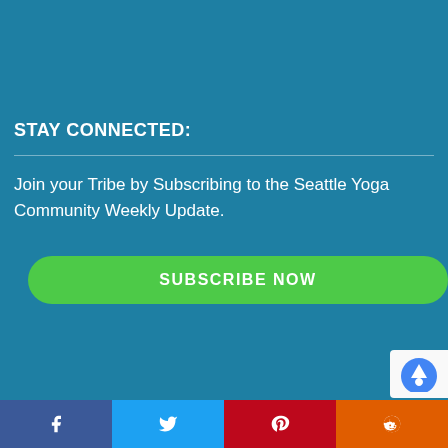STAY CONNECTED:
Join your Tribe by Subscribing to the Seattle Yoga Community Weekly Update.
[Figure (screenshot): Email subscription form with placeholder text 'Your email address' and a green 'SUBSCRIBE NOW' button]
Social media share buttons: Facebook, Twitter, Pinterest, Reddit